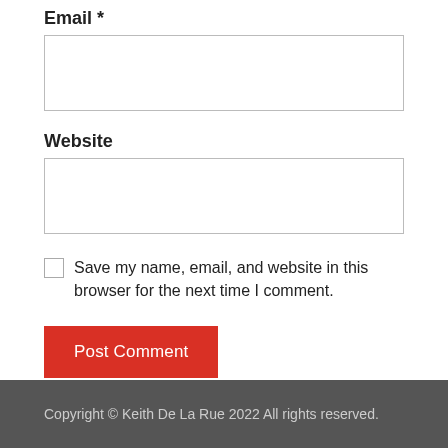Email *
Website
Save my name, email, and website in this browser for the next time I comment.
Post Comment
This site uses Akismet to reduce spam. Learn how your comment data is processed.
Copyright © Keith De La Rue 2022 All rights reserved.